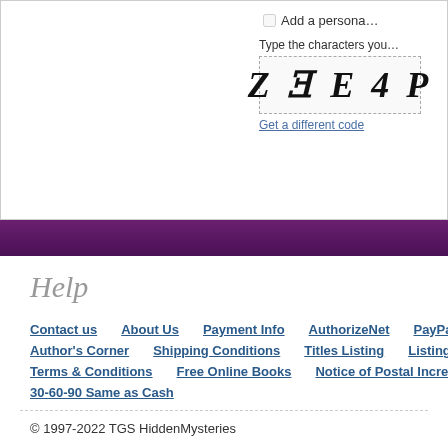[Figure (screenshot): CAPTCHA widget showing distorted characters 'ZE E 4 P' with a 'Get a different code' link and a checkbox for adding a personal message]
Help
Contact us
About Us
Payment Info
AuthorizeNet
PayPal
Author's Corner
Shipping Conditions
Titles Listing
Listing b
Terms & Conditions
Free Online Books
Notice of Postal Increase
30-60-90 Same as Cash
© 1997-2022 TGS HiddenMysteries